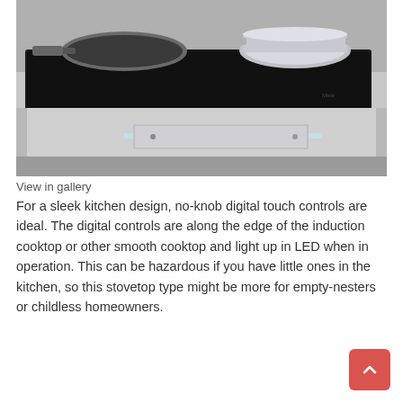[Figure (photo): Photo of a black induction cooktop on a grey kitchen island surface with a frying pan and stainless steel pot on top, and a glass shelf visible underneath the island.]
View in gallery
For a sleek kitchen design, no-knob digital touch controls are ideal. The digital controls are along the edge of the induction cooktop or other smooth cooktop and light up in LED when in operation. This can be hazardous if you have little ones in the kitchen, so this stovetop type might be more for empty-nesters or childless homeowners.